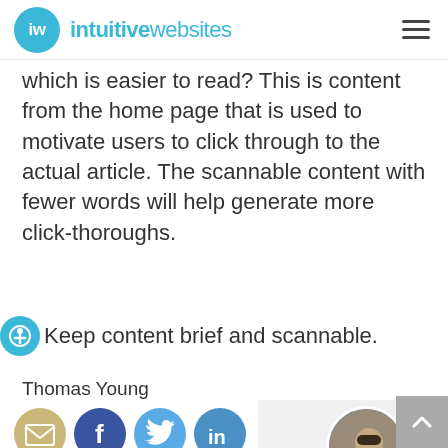iw intuitivewebsites
which is easier to read? This is content from the home page that is used to motivate users to click through to the actual article. The scannable content with fewer words will help generate more click-thoroughs.
Keep content brief and scannable.
Thomas Young
[Figure (infographic): Social sharing icons: email (tan circle), Facebook (blue circle with f), Twitter (light blue circle with bird), LinkedIn (blue circle with in)]
[Figure (photo): Circular headshot photo of a man smiling, on a gray background card]